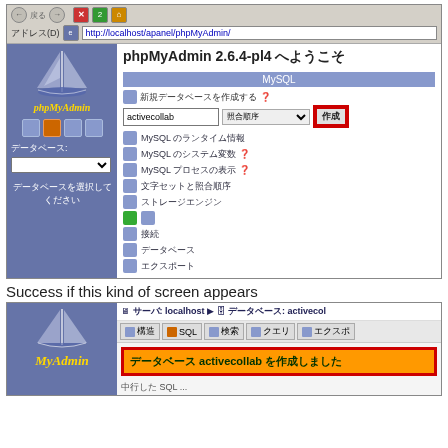[Figure (screenshot): phpMyAdmin 2.6.4-pl4 browser screenshot showing database creation form with 'activecollab' typed in input, 照合順序 dropdown, and 作成 button highlighted in red border. MySQL section with menu items visible.]
Success if this kind of screen appears
[Figure (screenshot): phpMyAdmin success screen showing breadcrumb サーバ: localhost > データベース: activecol, tab buttons 構造/SQL/検索/クエリ/エクスポ, and orange success banner reading データベース activecollab を作成しました]